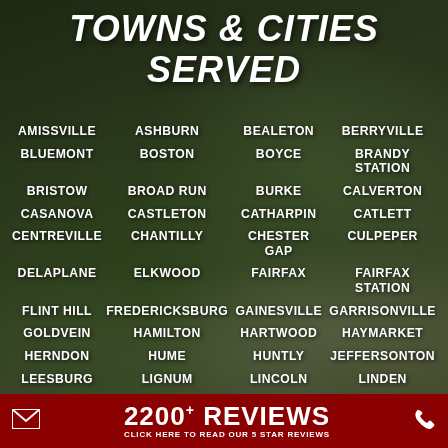TOWNS & CITIES SERVED
AMISSVILLE
ASHBURN
BEALETON
BERRYVILLE
BLUEMONT
BOSTON
BOYCE
BRANDY STATION
BRISTOW
BROAD RUN
BURKE
CALVERTON
CASANOVA
CASTLETON
CATHARPIN
CATLETT
CENTREVILLE
CHANTILLY
CHESTER GAP
CULPEPER
DELAPLANE
ELKWOOD
FAIRFAX
FAIRFAX STATION
FLINT HILL
FREDERICKSBURG
GAINESVILLE
GARRISONVILLE
GOLDVEIN
HAMILTON
HARTWOOD
HAYMARKET
HERNDON
HUME
HUNTLY
JEFFERSONTON
LEESBURG
LIGNUM
LINCOLN
LINDEN
2200+ REVIEWS
CLICK HERE TO READ OUR 5 STAR REVIEWS